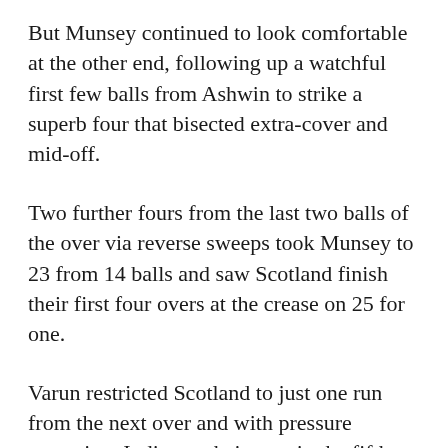But Munsey continued to look comfortable at the other end, following up a watchful first few balls from Ashwin to strike a superb four that bisected extra-cover and mid-off.
Two further fours from the last two balls of the over via reverse sweeps took Munsey to 23 from 14 balls and saw Scotland finish their first four overs at the crease on 25 for one.
Varun restricted Scotland to just one run from the next over and with pressure mounting, India got their man in the fifth over as Munsey smashed Shami to Hardik Pandya for 24.
Having finished the powerplay on 27 for two